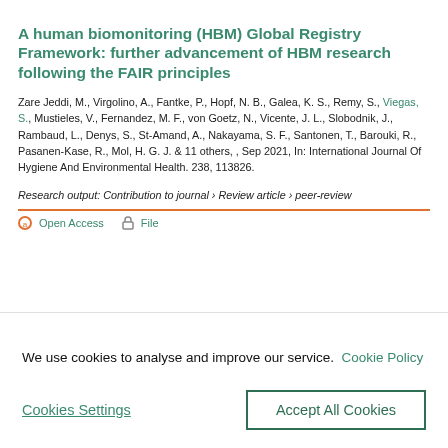A human biomonitoring (HBM) Global Registry Framework: further advancement of HBM research following the FAIR principles
Zare Jeddi, M., Virgolino, A., Fantke, P., Hopf, N. B., Galea, K. S., Remy, S., Viegas, S., Mustieles, V., Fernandez, M. F., von Goetz, N., Vicente, J. L., Slobodnik, J., Rambaud, L., Denys, S., St-Amand, A., Nakayama, S. F., Santonen, T., Barouki, R., Pasanen-Kase, R., Mol, H. G. J. & 11 others, , Sep 2021, In: International Journal Of Hygiene And Environmental Health. 238, 113826.
Research output: Contribution to journal › Review article › peer-review
Open Access   File
We use cookies to analyse and improve our service.  Cookie Policy
Cookies Settings
Accept All Cookies